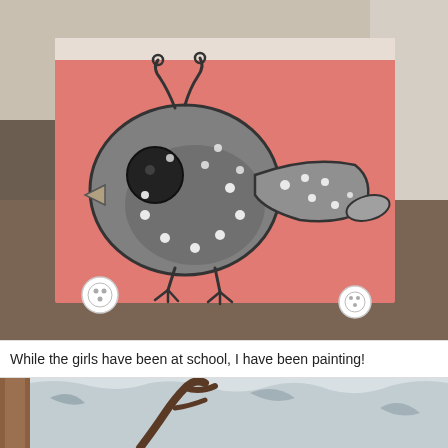[Figure (photo): A painting of a stylized gray bird with white polka dots on a coral/salmon pink background with a scalloped gray border at the top. The bird has a large round body, a dark eye, a small beak, curly antennae, a tail, and stick legs. Two white buttons are visible in the lower corners of the painting. The painting sits on a wooden floor.]
While the girls have been at school, I have been painting!
[Figure (photo): Partial view of another painting showing what appears to be a distressed light blue/white background with dark brown antler or branch shapes.]